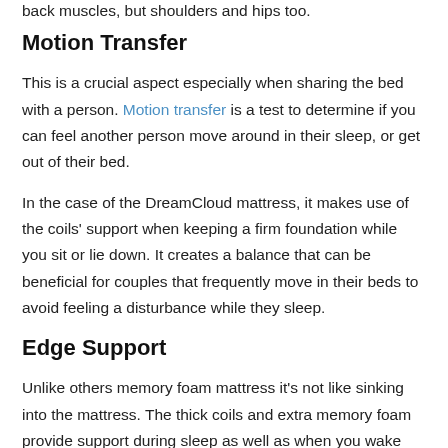back muscles, but shoulders and hips too.
Motion Transfer
This is a crucial aspect especially when sharing the bed with a person. Motion transfer is a test to determine if you can feel another person move around in their sleep, or get out of their bed.
In the case of the DreamCloud mattress, it makes use of the coils' support when keeping a firm foundation while you sit or lie down. It creates a balance that can be beneficial for couples that frequently move in their beds to avoid feeling a disturbance while they sleep.
Edge Support
Unlike others memory foam mattress it's not like sinking into the mattress. The thick coils and extra memory foam provide support during sleep as well as when you wake up.